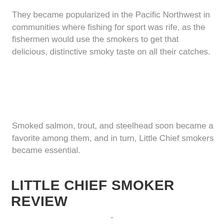They became popularized in the Pacific Northwest in communities where fishing for sport was rife, as the fishermen would use the smokers to get that delicious, distinctive smoky taste on all their catches.
Smoked salmon, trout, and steelhead soon became a favorite among them, and in turn, Little Chief smokers became essential.
LITTLE CHIEF SMOKER REVIEW